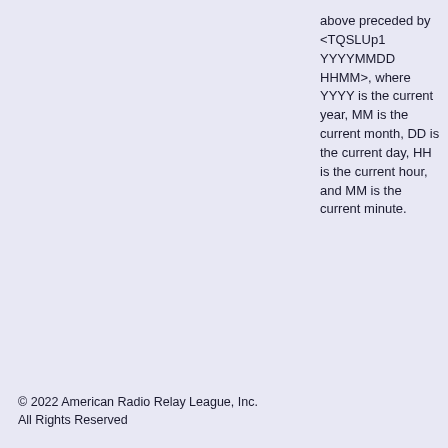above preceded by <TQSLUp1 YYYYMMDD HHMM>, where YYYY is the current year, MM is the current month, DD is the current day, HH is the current hour, and MM is the current minute.
© 2022 American Radio Relay League, Inc.
All Rights Reserved